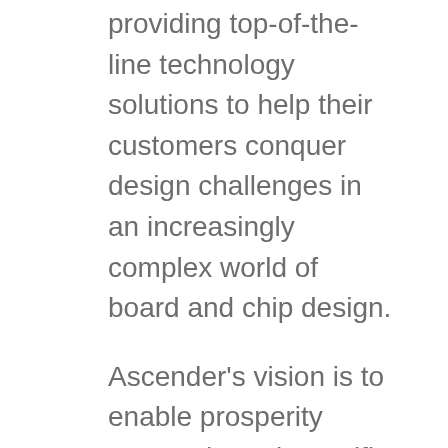providing top-of-the-line technology solutions to help their customers conquer design challenges in an increasingly complex world of board and chip design.
Ascender's vision is to enable prosperity across the Asia Pacific is a big task for an organisation that isn't quite that big yet. Luckily, Ascender knows that providing payroll services globally isn't a task that one organisation takes – it takes key partnerships to extend the reach further across the world.
Partnering with HLB Ijaz Tabussum & Company, an accounting firm based in Pakistan, Ascender was able to provide payroll services for the 135